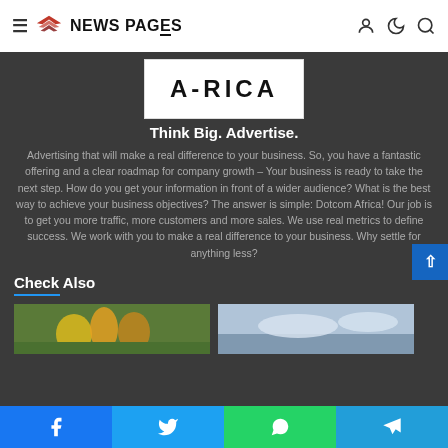NEWS PAGES
[Figure (logo): Africa logo: white box with 'AFRICA' text in large bold letters]
Think Big. Advertise.
Advertising that will make a real difference to your business. So, you have a fantastic offering and a clear roadmap for company growth – Your business is ready to take the next step. How do you get your information in front of a wider audience? What is the best way to achieve your business objectives? The answer is simple: Dotcom Africa! Our job is to get you more traffic, more customers and more sales. We use real metrics to define success. We work with you to make a real difference to your business. Why settle for anything less?
Check Also
[Figure (photo): Cricket players on a green field]
[Figure (photo): Sky with clouds landscape photo]